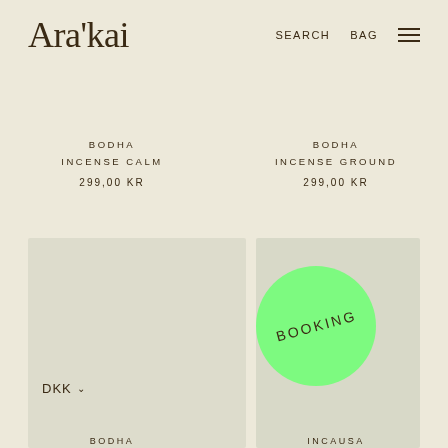Ara'kai
SEARCH  BAG  ☰
BODHA
INCENSE CALM
299,00 KR
BODHA
INCENSE GROUND
299,00 KR
[Figure (photo): Product image placeholder left - light greenish-gray rectangle]
DKK ∨
[Figure (photo): Product image placeholder right - light greenish-gray rectangle with green circular BOOKING badge]
BODHA
INCAUSA